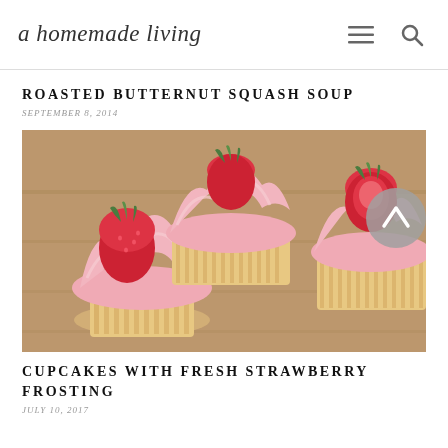a homemade living
ROASTED BUTTERNUT SQUASH SOUP
SEPTEMBER 8, 2014
[Figure (photo): Multiple cupcakes with pink swirled strawberry frosting and fresh strawberries on top, arranged on a wooden surface. A circular scroll-to-top button is overlaid on the top right of the image.]
CUPCAKES WITH FRESH STRAWBERRY FROSTING
JULY 10, 2017